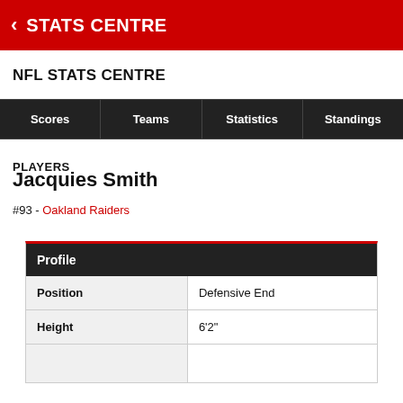STATS CENTRE
NFL STATS CENTRE
Scores
Teams
Statistics
Standings
PLAYERS
Jacquies Smith
#93 - Oakland Raiders
| Profile |  |
| --- | --- |
| Position | Defensive End |
| Height | 6'2" |